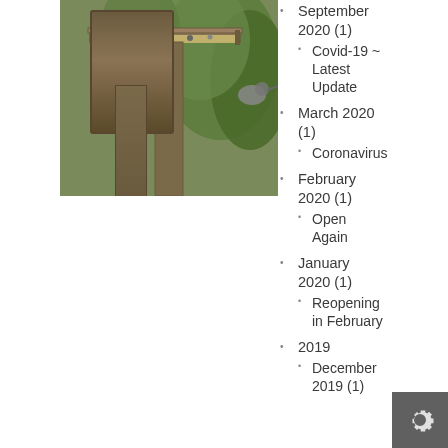[Figure (photo): A wooden bird feeder on a post, filled with birdseed, with green foliage in the background and a bird partially visible.]
September 2020 (1)
Covid-19 ~ Latest Update
March 2020 (1)
Coronavirus
February 2020 (1)
Open Again
January 2020 (1)
Reopening in February
2019
December 2019 (1)